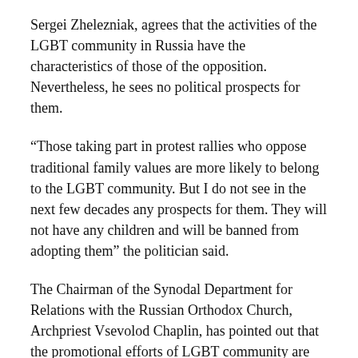Sergei Zhelezniak, agrees that the activities of the LGBT community in Russia have the characteristics of those of the opposition. Nevertheless, he sees no political prospects for them.
“Those taking part in protest rallies who oppose traditional family values are more likely to belong to the LGBT community. But I do not see in the next few decades any prospects for them. They will not have any children and will be banned from adopting them” the politician said.
The Chairman of the Synodal Department for Relations with the Russian Orthodox Church, Archpriest Vsevolod Chaplin, has pointed out that the promotional efforts of LGBT community are paying off.
“LGBT opposes the right to call good ‘good’ and evil ‘evil’; it is against the public’s right to make moral judgment and to